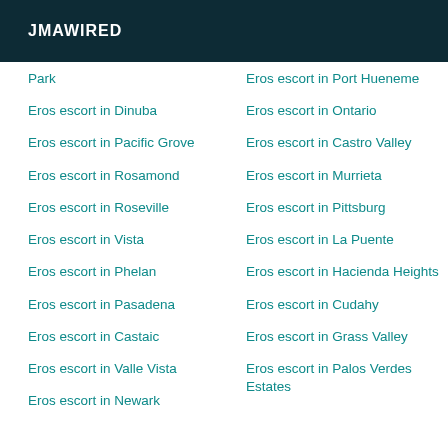JMAWIRED
Park
Eros escort in Dinuba
Eros escort in Pacific Grove
Eros escort in Rosamond
Eros escort in Roseville
Eros escort in Vista
Eros escort in Phelan
Eros escort in Pasadena
Eros escort in Castaic
Eros escort in Valle Vista
Eros escort in Newark
Eros escort in Port Hueneme
Eros escort in Ontario
Eros escort in Castro Valley
Eros escort in Murrieta
Eros escort in Pittsburg
Eros escort in La Puente
Eros escort in Hacienda Heights
Eros escort in Cudahy
Eros escort in Grass Valley
Eros escort in Palos Verdes Estates